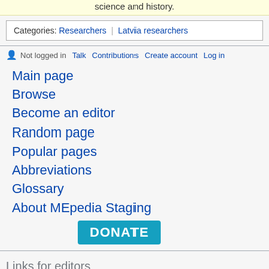science and history.
Categories:  Researchers | Latvia researchers
Not logged in  Talk  Contributions  Create account  Log in
Main page
Browse
Become an editor
Random page
Popular pages
Abbreviations
Glossary
About MEpedia Staging
DONATE
Links for editors